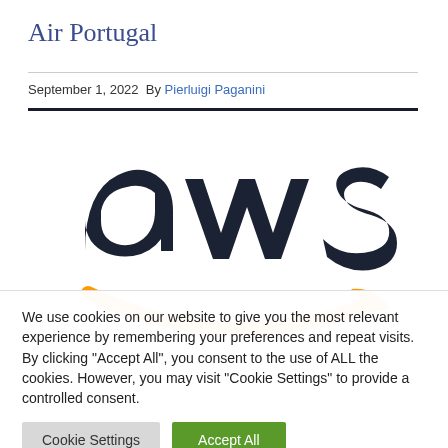Air Portugal
September 1, 2022  By Pierluigi Paganini
[Figure (logo): AWS (Amazon Web Services) logo — dark navy 'aws' text with orange arrow/smile beneath]
We use cookies on our website to give you the most relevant experience by remembering your preferences and repeat visits. By clicking "Accept All", you consent to the use of ALL the cookies. However, you may visit "Cookie Settings" to provide a controlled consent.
Cookie Settings | Accept All